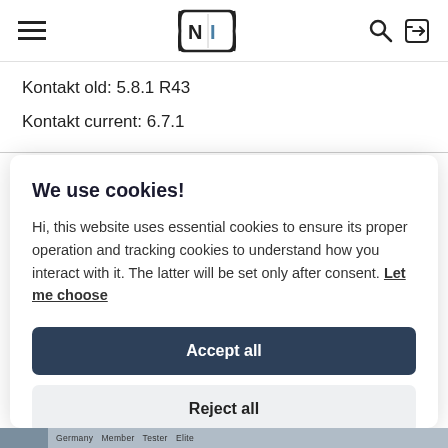NI logo navigation bar with hamburger menu, search, and login icons
Kontakt old: 5.8.1 R43
Kontakt current: 6.7.1
We use cookies!
Hi, this website uses essential cookies to ensure its proper operation and tracking cookies to understand how you interact with it. The latter will be set only after consent. Let me choose
Accept all
Reject all